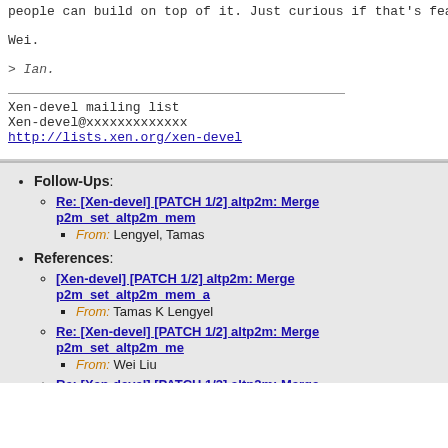people can build on top of it. Just curious if that's feasible
Wei.
> Ian.
Xen-devel mailing list
Xen-devel@xxxxxxxxxxxxx
http://lists.xen.org/xen-devel
Follow-Ups: Re: [Xen-devel] [PATCH 1/2] altp2m: Merge p2m_set_altp2m_me... From: Lengyel, Tamas
References: [Xen-devel] [PATCH 1/2] altp2m: Merge p2m_set_altp2m_mem_a... From: Tamas K Lengyel | Re: [Xen-devel] [PATCH 1/2] altp2m: Merge p2m_set_altp2m_me... From: Wei Liu | Re: [Xen-devel] [PATCH 1/2] altp2m: Merge p2m_set_altp2m_me... From: Ian Campbell
Prev by Date: [Xen-devel] [PATCH] xl: don't free additional memory on s...